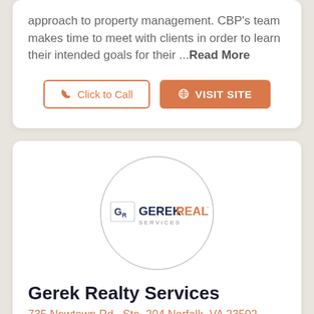approach to property management. CBP's team makes time to meet with clients in order to learn their intended goals for their ...Read More
Click to Call
VISIT SITE
[Figure (logo): Gerek Realty Services logo inside a circle: GR GEREKREALTY SERVICES]
Gerek Realty Services
735 Newtown Rd., Ste. 204 Norfolk, VA 23502
Gerek Realty Services (GRS) was founded in